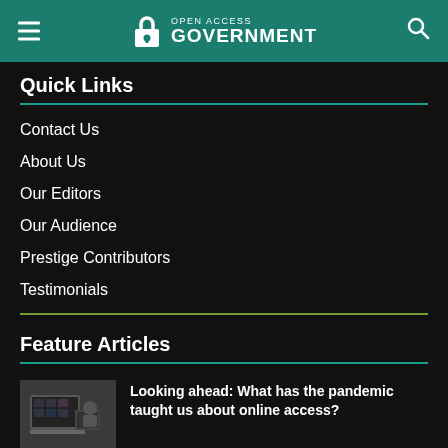Open Access Government
Quick Links
Contact Us
About Us
Our Editors
Our Audience
Prestige Contributors
Testimonials
Feature Articles
[Figure (photo): Person at a desk with a laptop in a video call]
Looking ahead: What has the pandemic taught us about online access?